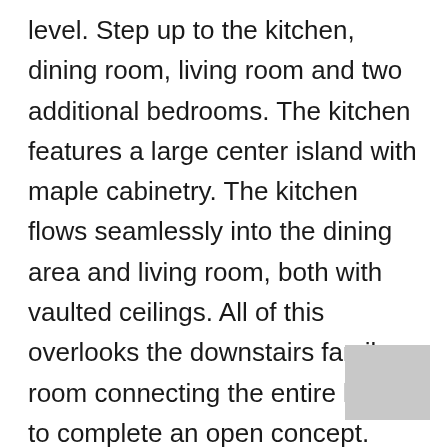level. Step up to the kitchen, dining room, living room and two additional bedrooms. The kitchen features a large center island with maple cabinetry. The kitchen flows seamlessly into the dining area and living room, both with vaulted ceilings. All of this overlooks the downstairs family room connecting the entire home to complete an open concept. The master bedroom on this level features a walk in closet. Rosewind is located just minutes from EMU, U of M, Downtown Ypsilanti, Depot Town and it's just a quick 20 minute commute to Ann Arbor. Enjoy the community playscape, scenic common areas, sidewalks and walking trails. What a great place to call home! Schedule your showing